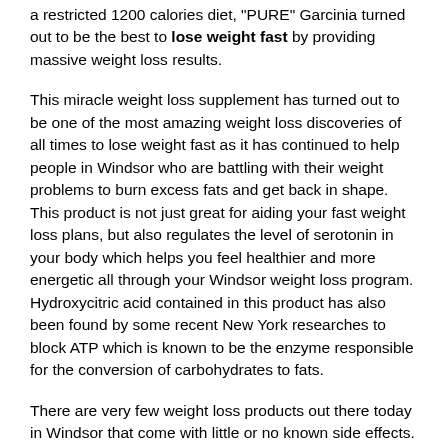a restricted 1200 calories diet, "PURE" Garcinia turned out to be the best to lose weight fast by providing massive weight loss results.
This miracle weight loss supplement has turned out to be one of the most amazing weight loss discoveries of all times to lose weight fast as it has continued to help people in Windsor who are battling with their weight problems to burn excess fats and get back in shape. This product is not just great for aiding your fast weight loss plans, but also regulates the level of serotonin in your body which helps you feel healthier and more energetic all through your Windsor weight loss program. Hydroxycitric acid contained in this product has also been found by some recent New York researches to block ATP which is known to be the enzyme responsible for the conversion of carbohydrates to fats.
There are very few weight loss products out there today in Windsor that come with little or no known side effects. "PURE" Garcinia Select is one of such products whose intake is not associated with any negative effects. Taking this weight loss supplement in Windsor is quite safe because it was extracted from the natural Garcinia fruit without any additives. With Garcinia Cambogia, you are not just guaranteed an